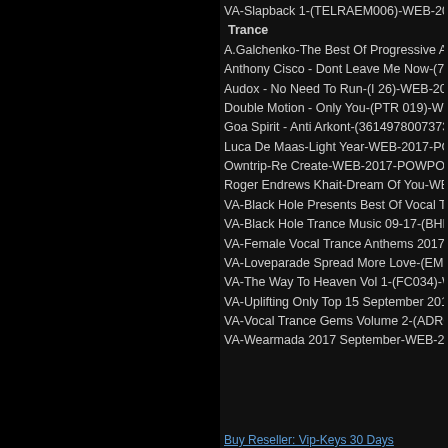VA-Slapback 1-(TELRAEM006)-WEB-2017-iH...
Trance
A.Galchenko-The Best Of Progressive And Tranc...
Anthony Cisco - Dont Leave Me Now-(763004 7...
Audox - No Need To Run-(I 26)-WEB-2017-ZzZ...
Double Motion - Only You-(PTR 019)-WEB-201...
Goa Spirit - Anti Arkont-(3614978007373)-WEB...
Luca De Maas-Light Year-WEB-2017-POWPOW...
Owntrip-Re Create-WEB-2017-POWPOW
Roger Endrews Khait-Dream Of You-WEB-2017...
VA-Black Hole Presents Best Of Vocal Trance 20...
VA-Black Hole Trance Music 09-17-(BHDC429)...
VA-Female Vocal Trance Anthems 2017-(RNM17...
VA-Loveparade Spread More Love-(EME11)-WH...
VA-The Way To Heaven Vol 1-(FC034)-WEB-20...
VA-Uplifting Only Top 15 September 2017-(UO...
VA-Vocal Trance Gems Volume 2-(ADRGEMS0...
VA-Wearmada 2017 September-WEB-2017-AFO...
Buy Reseller: Vip-Keys 30 Days
BitCoin, BankWire, WesternUnion, MoneyGram, Go...
Comments: 0 | Views: 1 07...